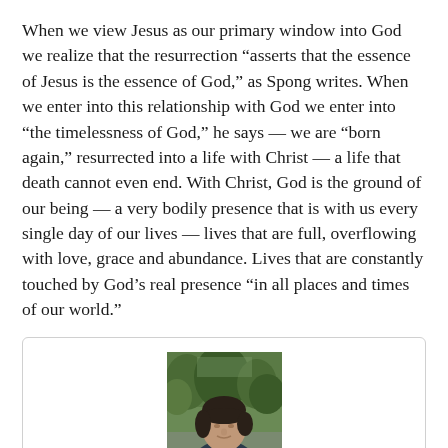When we view Jesus as our primary window into God we realize that the resurrection “asserts that the essence of Jesus is the essence of God,” as Spong writes. When we enter into this relationship with God we enter into “the timelessness of God,” he says — we are “born again,” resurrected into a life with Christ — a life that death cannot even end. With Christ, God is the ground of our being — a very bodily presence that is with us every single day of our lives — lives that are full, overflowing with love, grace and abundance. Lives that are constantly touched by God’s real presence “in all places and times of our world.”
[Figure (photo): A person photographed outdoors, wearing a dark jacket over a plaid shirt, with short dark hair. Background shows trees and outdoor scenery.]